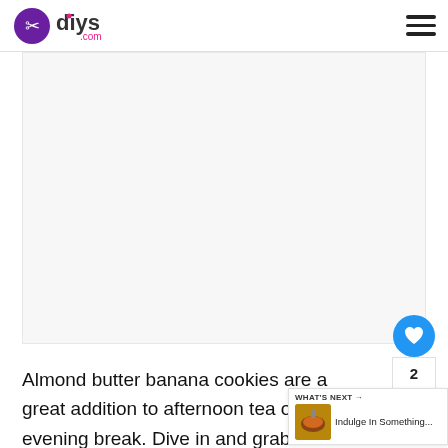diys.com
[Figure (photo): Large blank/white image area placeholder for article image]
Almond butter banana cookies are a great addition to afternoon tea or an evening break. Dive in and grab the recipe from Living